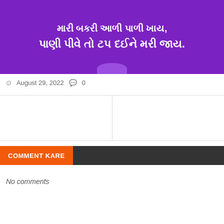[Figure (illustration): Purple background image with white Gujarati text. Line 1: 'મારી બકરી આળી પાળી ખાય,' Line 2: 'પાણી પીવે તો ટપ દઈને મરી જાય.' with a purple decorative blob at bottom.]
August 29, 2022  0
COMMENT KARE
No comments